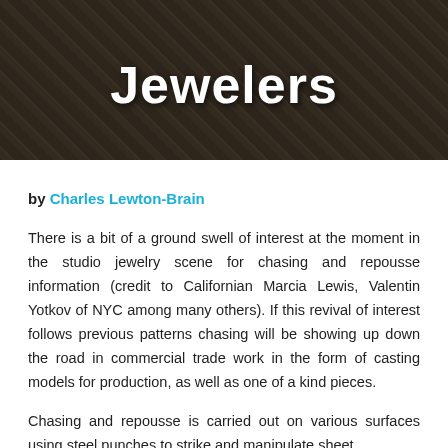[Figure (photo): Dark background header image with wood/stone texture and dark overlay, displaying the title 'Jewelers' in large bold white text]
Jewelers
by Charles Lewton-Brain
There is a bit of a ground swell of interest at the moment in the studio jewelry scene for chasing and repousse information (credit to Californian Marcia Lewis, Valentin Yotkov of NYC among many others). If this revival of interest follows previous patterns chasing will be showing up down the road in commercial trade work in the form of casting models for production, as well as one of a kind pieces.
Chasing and repousse is carried out on various surfaces using steel punches to strike and manipulate sheet